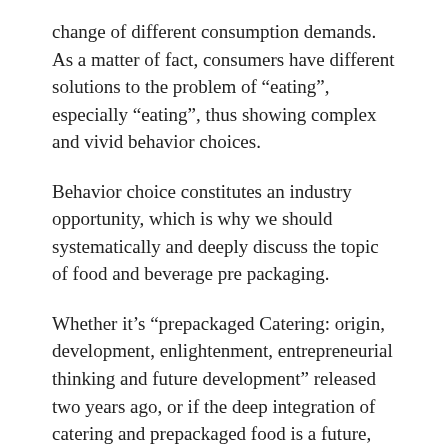change of different consumption demands. As a matter of fact, consumers have different solutions to the problem of “eating”, especially “eating”, thus showing complex and vivid behavior choices.
Behavior choice constitutes an industry opportunity, which is why we should systematically and deeply discuss the topic of food and beverage pre packaging.
Whether it’s “prepackaged Catering: origin, development, enlightenment, entrepreneurial thinking and future development” released two years ago, or if the deep integration of catering and prepackaged food is a future, what opportunities will China’s market have and how to seize these opportunities? □Is it an opportunity for catering enterprises or packaging food enterprises? □As well as our upcoming 2020 food and beverage prepackaging